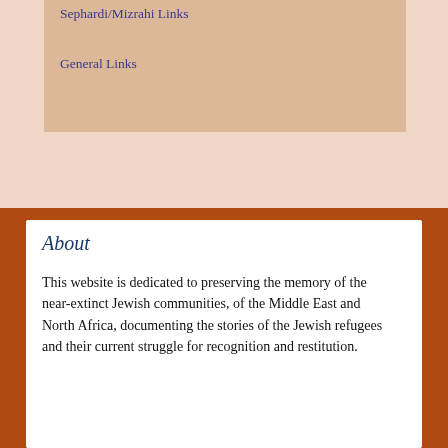Sephardi/Mizrahi Links
General Links
About
This website is dedicated to preserving the memory of the near-extinct Jewish communities, of the Middle East and North Africa, documenting the stories of the Jewish refugees and their current struggle for recognition and restitution.